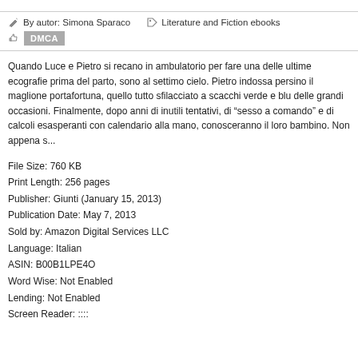By autor: Simona Sparaco   Literature and Fiction ebooks   DMCA
Quando Luce e Pietro si recano in ambulatorio per fare una delle ultime ecografie prima del parto, sono al settimo cielo. Pietro indossa persino il maglione portafortuna, quello tutto sfilacciato a scacchi verde e blu delle grandi occasioni. Finalmente, dopo anni di inutili tentativi, di “sesso a comando” e di calcoli esasperanti con calendario alla mano, conosceranno il loro bambino. Non appena s...
File Size: 760 KB
Print Length: 256 pages
Publisher: Giunti (January 15, 2013)
Publication Date: May 7, 2013
Sold by: Amazon Digital Services LLC
Language: Italian
ASIN: B00B1LPE4O
Word Wise: Not Enabled
Lending: Not Enabled
Screen Reader: ::::